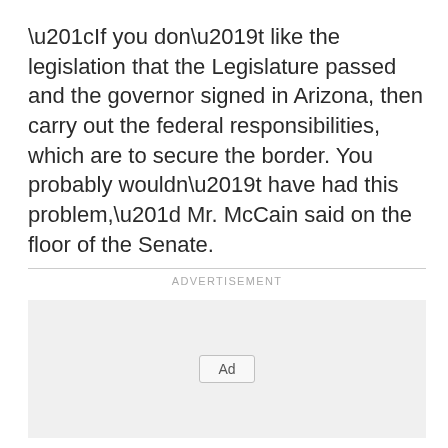“If you don’t like the legislation that the Legislature passed and the governor signed in Arizona, then carry out the federal responsibilities, which are to secure the border. You probably wouldn’t have had this problem,” Mr. McCain said on the floor of the Senate.
ADVERTISEMENT
[Figure (other): Advertisement placeholder box with 'Ad' button label]